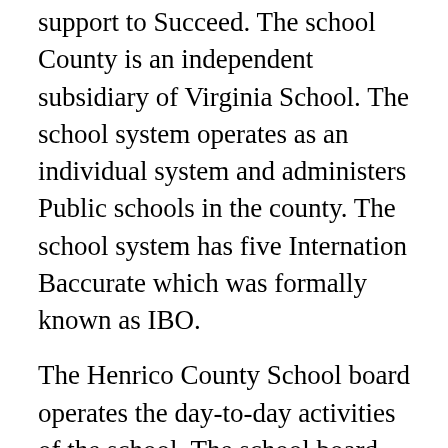support to Succeed. The school County is an independent subsidiary of Virginia School. The school system operates as an individual system and administers Public schools in the county. The school system has five Internation Baccurate which was formally known as IBO.
The Henrico County School board operates the day-to-day activities of the school. The school board has 5 members who are elected for a specific time duration. The Henrico County School has a total student strength of 48,982students as per the data of 2019-2020. The school has started to recruit more people with the increased student population. At